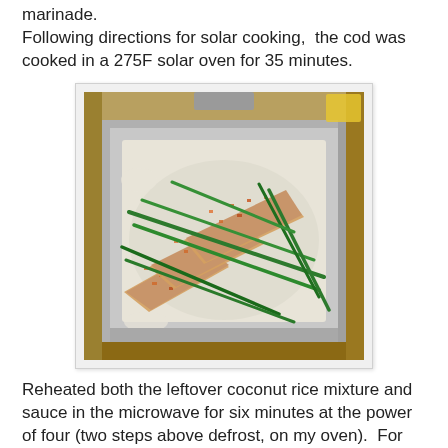marinade.
Following directions for solar cooking,  the cod was cooked in a 275F solar oven for 35 minutes.
[Figure (photo): Overhead photo of seasoned cod fillets with green beans in a stainless steel baking pan, sitting in a solar oven, showing the food with orange/red seasoning crust.]
Reheated both the leftover coconut rice mixture and sauce in the microwave for six minutes at the power of four (two steps above defrost, on my oven).  For variety, I steamed a broccoli head in 2 Tablespoons of water. When done, a light spritz of lemon juice was added. It was delicious -- and, I was right -- the cod is much better for this recipe than the mahi mahi because it's a flakier more porous fish and absorbed the flavors more evenly.